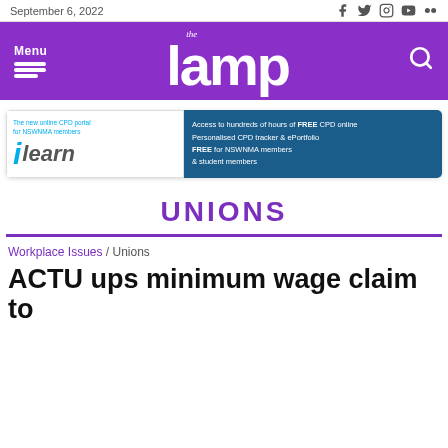September 6, 2022
[Figure (logo): The Lamp magazine header logo with purple background, menu hamburger icon on left, 'the lamp' logo in center, search icon on right]
[Figure (infographic): ilearn advertisement banner - 'The new online CPD portal for NSWNMA members ilearn' on left, blue panel on right: 'Access to hundreds of hours of FREE CPD online Personalised CPD tracker & ePortfolio FREE for NSWNMA members & student members']
UNIONS
Workplace Issues / Unions
ACTU ups minimum wage claim to